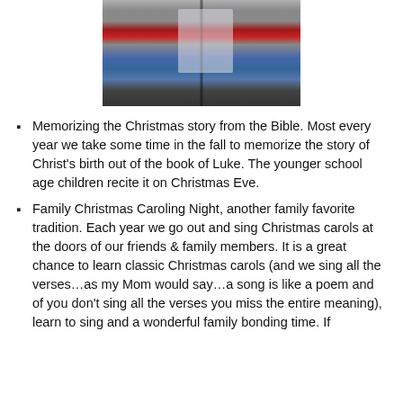[Figure (photo): Photo of a person at the top of the page, partially cropped, wearing dark jacket and jeans, with microphone stands visible]
Memorizing the Christmas story from the Bible.  Most every year we take some time in the fall to memorize the story of Christ's birth out of the book of Luke.  The younger school age children recite it on Christmas Eve.
Family Christmas Caroling Night, another family favorite tradition.  Each year we go out and sing Christmas carols at the doors of our friends & family members. It is a great chance to learn classic Christmas carols (and we sing all the verses…as my Mom would say…a song is like a poem and of you don't sing all the verses you miss the entire meaning), learn to sing and a wonderful family bonding time.  If you didn't get to the bullet on the site, it is in...